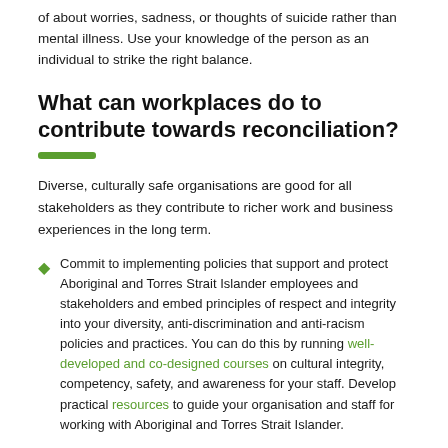of about worries, sadness, or thoughts of suicide rather than mental illness. Use your knowledge of the person as an individual to strike the right balance.
What can workplaces do to contribute towards reconciliation?
Diverse, culturally safe organisations are good for all stakeholders as they contribute to richer work and business experiences in the long term.
Commit to implementing policies that support and protect Aboriginal and Torres Strait Islander employees and stakeholders and embed principles of respect and integrity into your diversity, anti-discrimination and anti-racism policies and practices. You can do this by running well-developed and co-designed courses on cultural integrity, competency, safety, and awareness for your staff. Develop practical resources to guide your organisation and staff for working with Aboriginal and Torres Strait Islander.